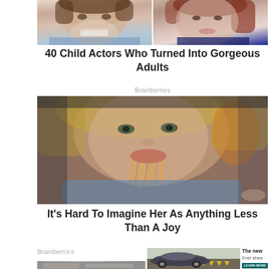[Figure (photo): Two celebrity photos side by side — a smiling woman on left and a brunette woman on right]
40 Child Actors Who Turned Into Gorgeous Adults
Brainberries
[Figure (photo): Woman eating spaghetti, close-up portrait]
It's Hard To Imagine Her As Anything Less Than A Joy
Brainberries
[Figure (photo): Sports car advertisement — car on road with yellow chevron markers]
The new
Ever ahea
LEARN MORE
[Figure (photo): Car interior photo strip at bottom left]